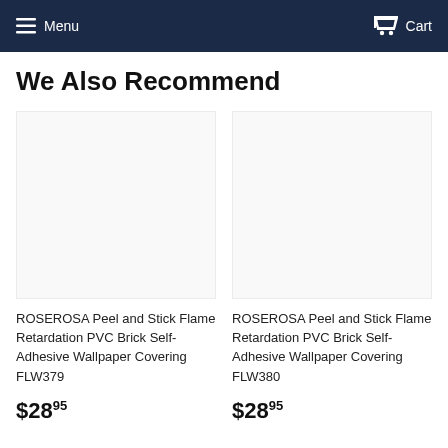Menu  Cart
We Also Recommend
[Figure (photo): Product image placeholder for ROSEROSA FLW379 (blank/white)]
ROSEROSA Peel and Stick Flame Retardation PVC Brick Self-Adhesive Wallpaper Covering FLW379
$28.95
[Figure (photo): Product image placeholder for ROSEROSA FLW380 (blank/white)]
ROSEROSA Peel and Stick Flame Retardation PVC Brick Self-Adhesive Wallpaper Covering FLW380
$28.95